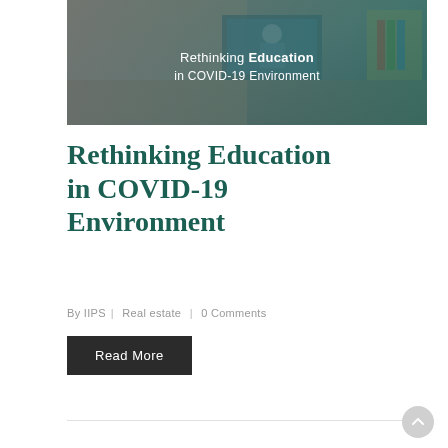[Figure (photo): Banner image showing a person studying at a laptop with a video call showing a teacher. Overlay text reads 'Rethinking Education in COVID-19 Environment' on a dark teal background.]
Rethinking Education in COVID-19 Environment
By IIPS | Real estate | 0 Comments
Read More